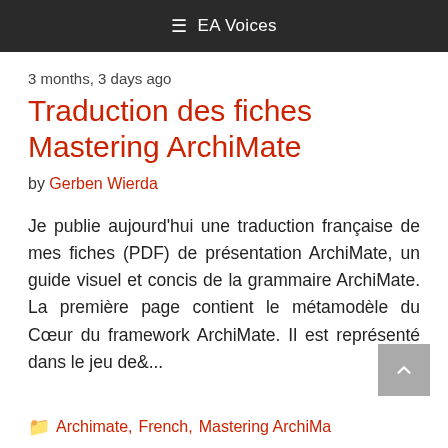≡ EA Voices
3 months, 3 days ago
Traduction des fiches Mastering ArchiMate
by Gerben Wierda
Je publie aujourd'hui une traduction française de mes fiches (PDF) de présentation ArchiMate, un guide visuel et concis de la grammaire ArchiMate. La première page contient le métamodèle du Cœur du framework ArchiMate. Il est représenté dans le jeu de&...
Archimate, French, Mastering ArchiMate